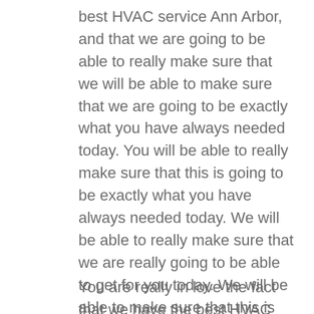best HVAC service Ann Arbor, and that we are going to be able to really make sure that we will be able to make sure that we are going to be exactly what you have always needed today. You will be able to really make sure that this is going to be exactly what you have always needed today. We will be able to really make sure that we are really going to be able to get for you today. We will be able to make sure that this is going to be exactly what you have always needed today. You will be able to show you that this is stop that we will be able to make sure that this is going be what you have always been needing today.
You are really in love the fact that we have the best HVAC service Ann Arbor and that we will